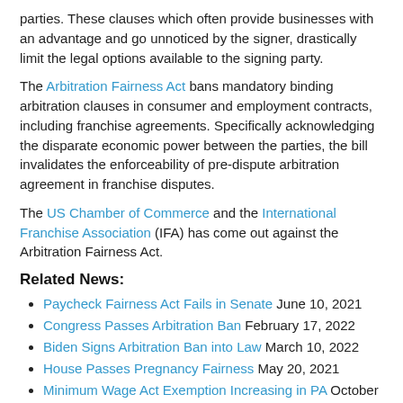parties. These clauses which often provide businesses with an advantage and go unnoticed by the signer, drastically limit the legal options available to the signing party.
The Arbitration Fairness Act bans mandatory binding arbitration clauses in consumer and employment contracts, including franchise agreements. Specifically acknowledging the disparate economic power between the parties, the bill invalidates the enforceability of pre-dispute arbitration agreement in franchise disputes.
The US Chamber of Commerce and the International Franchise Association (IFA) has come out against the Arbitration Fairness Act.
Related News:
Paycheck Fairness Act Fails in Senate June 10, 2021
Congress Passes Arbitration Ban February 17, 2022
Biden Signs Arbitration Ban into Law March 10, 2022
House Passes Pregnancy Fairness May 20, 2021
Minimum Wage Act Exemption Increasing in PA October 8, 2020
PRO Act Out of COVID Relief, But . . . February 25, 2021